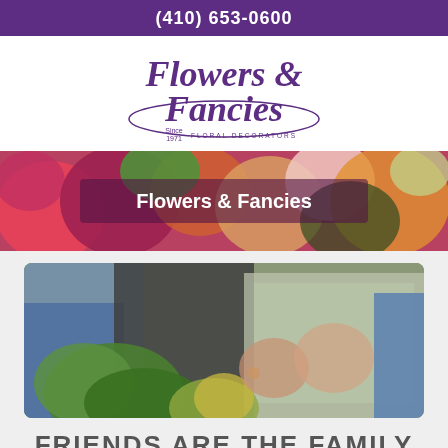(410) 653-0600
[Figure (logo): Flowers & Fancies floral decorators logo in purple script, Since 1971]
[Figure (photo): Close-up photo of colorful flowers including pink, red, orange blooms with green foliage, with text overlay 'Flowers & Fancies' on a dark purple transparent band]
Flowers & Fancies
[Figure (photo): Photo of two people holding a flower arrangement with green succulents, ferns, and decorative elements, wearing denim jackets]
FRIENDS ARE THE FAMILY YOU